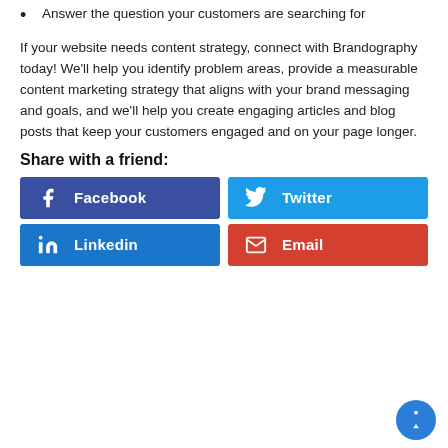Answer the question your customers are searching for
If your website needs content strategy, connect with Brandography today! We'll help you identify problem areas, provide a measurable content marketing strategy that aligns with your brand messaging and goals, and we'll help you create engaging articles and blog posts that keep your customers engaged and on your page longer.
Share with a friend:
[Figure (infographic): Four social sharing buttons: Facebook (dark blue), Twitter (light blue), LinkedIn (blue), Email (red), each with icon and label]